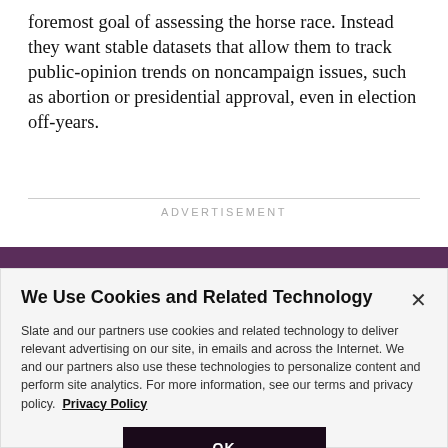foremost goal of assessing the horse race. Instead they want stable datasets that allow them to track public-opinion trends on noncampaign issues, such as abortion or presidential approval, even in election off-years.
ADVERTISEMENT
We Use Cookies and Related Technology
Slate and our partners use cookies and related technology to deliver relevant advertising on our site, in emails and across the Internet. We and our partners also use these technologies to personalize content and perform site analytics. For more information, see our terms and privacy policy. Privacy Policy
OK